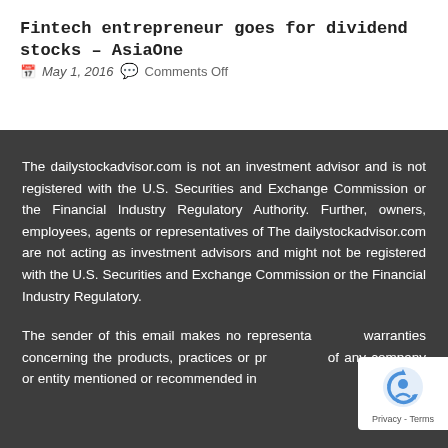Fintech entrepreneur goes for dividend stocks – AsiaOne
May 1, 2016   Comments Off
The dailystockadvisor.com is not an investment advisor and is not registered with the U.S. Securities and Exchange Commission or the Financial Industry Regulatory Authority. Further, owners, employees, agents or representatives of The dailystockadvisor.com are not acting as investment advisors and might not be registered with the U.S. Securities and Exchange Commission or the Financial Industry Regulatory.
The sender of this email makes no representations or warranties concerning the products, practices or procedures of any company or entity mentioned or recommended in